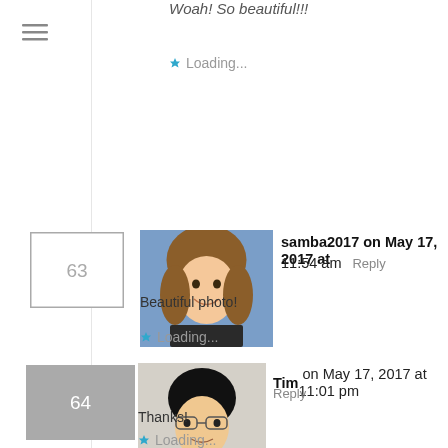[Figure (screenshot): Mobile website comment section showing comments 63 and 64 on a blog post, with partial top comment visible, hamburger menu icon, user avatars, usernames, dates, reply links, comment text, and loading indicators.]
Woah! So beautiful!!!
Loading...
samba2017 on May 17, 2017 at 11:54 am  Reply
Beautiful photo!
Loading...
Tim on May 17, 2017 at 11:01 pm  Reply
Thanks!
Loading...